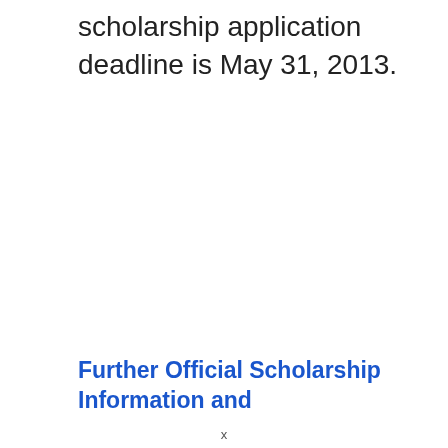scholarship application deadline is May 31, 2013.
Further Official Scholarship Information and
x